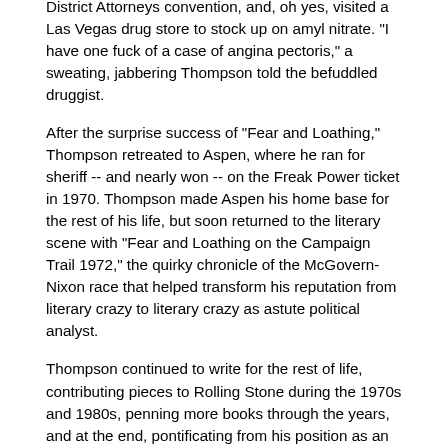District Attorneys convention, and, oh yes, visited a Las Vegas drug store to stock up on amyl nitrate. "I have one fuck of a case of angina pectoris," a sweating, jabbering Thompson told the befuddled druggist.
After the surprise success of "Fear and Loathing," Thompson retreated to Aspen, where he ran for sheriff -- and nearly won -- on the Freak Power ticket in 1970. Thompson made Aspen his home base for the rest of his life, but soon returned to the literary scene with "Fear and Loathing on the Campaign Trail 1972," the quirky chronicle of the McGovern-Nixon race that helped transform his reputation from literary crazy to literary crazy as astute political analyst.
Thompson continued to write for the rest of life, contributing pieces to Rolling Stone during the 1970s and 1980s, penning more books through the years, and at the end, pontificating from his position as an ESPN sports analyst in a weird combination of gambler junkiedom and harsh political commentary. His most recent book, "Hey Rube: Blood Sport, the Bush Doctrine, and the Downward Spiral of Dumbness -- Modern History from the Sports Desk," a compilation of his ESPN columns, showed that Thompson still had it as he skewered failed sports franchises and "shithead" politicians like the one mentioned in the title alike.
As both an avid drug user and a gun-lover, Thompson personified all that is wild and crazy in the American psyche, making him an appalling personage to liberal do-gooders and conservative reactionaries alike. While he wrote often about politics, Thompson did not wear his own politics on his sleeve; rather, he lived it. But there was one political crusade Thompson took up in recent years, and it is a pity he did not stick around to finish it. In late 1997, a young Denver woman named